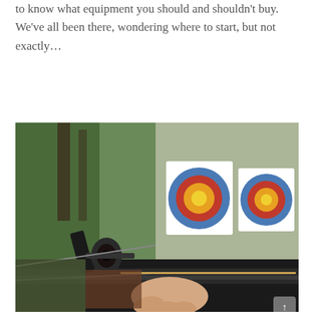to know what equipment you should and shouldn't buy. We've all been there, wondering where to start, but not exactly…
[Figure (photo): Close-up of a crossbow being aimed at two archery targets with concentric blue, red, and yellow circles, set against a green outdoor background.]